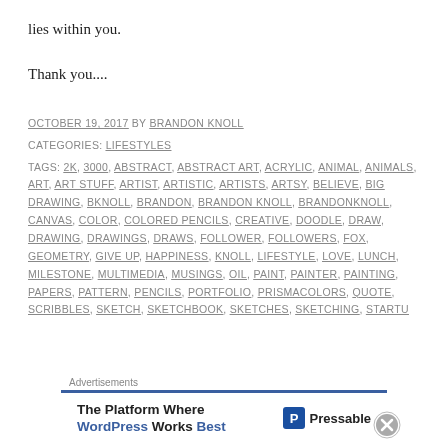lies within you.
Thank you....
OCTOBER 19, 2017 BY BRANDON KNOLL
CATEGORIES: LIFESTYLES
TAGS: 2K, 3000, ABSTRACT, ABSTRACT ART, ACRYLIC, ANIMAL, ANIMALS, ART, ART STUFF, ARTIST, ARTISTIC, ARTISTS, ARTSY, BELIEVE, BIG DRAWING, BKNOLL, BRANDON, BRANDON KNOLL, BRANDONKNOLL, CANVAS, COLOR, COLORED PENCILS, CREATIVE, DOODLE, DRAW, DRAWING, DRAWINGS, DRAWS, FOLLOWER, FOLLOWERS, FOX, GEOMETRY, GIVE UP, HAPPINESS, KNOLL, LIFESTYLE, LOVE, LUNCH, MILESTONE, MULTIMEDIA, MUSINGS, OIL, PAINT, PAINTER, PAINTING, PAPERS, PATTERN, PENCILS, PORTFOLIO, PRISMACOLORS, QUOTE, SCRIBBLES, SKETCH, SKETCHBOOK, SKETCHES, SKETCHING, STARTU…
[Figure (other): Advertisement banner for Pressable: 'The Platform Where WordPress Works Best' with Pressable logo]